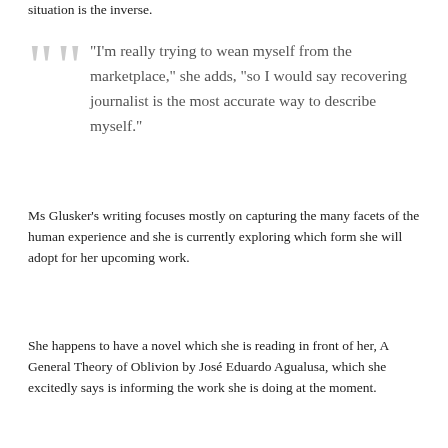situation is the inverse.
“I’m really trying to wean myself from the marketplace,” she adds, “so I would say recovering journalist is the most accurate way to describe myself.”
Ms Glusker’s writing focuses mostly on capturing the many facets of the human experience and she is currently exploring which form she will adopt for her upcoming work.
She happens to have a novel which she is reading in front of her, A General Theory of Oblivion by José Eduardo Agualusa, which she excitedly says is informing the work she is doing at the moment.